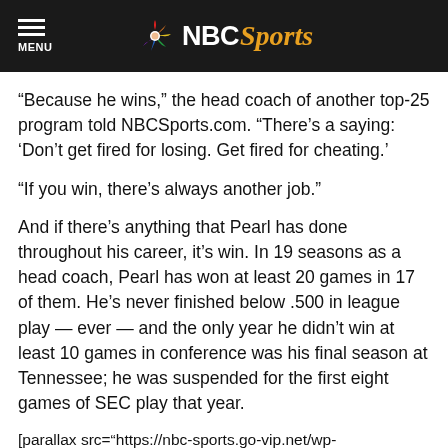NBC Sports
“Because he wins,” the head coach of another top-25 program told NBCSports.com. “There’s a saying: ‘Don’t get fired for losing. Get fired for cheating.’
“If you win, there’s always another job.”
And if there’s anything that Pearl has done throughout his career, it’s win. In 19 seasons as a head coach, Pearl has won at least 20 games in 17 of them. He’s never finished below .500 in league play — ever — and the only year he didn’t win at least 10 games in conference was his final season at Tennessee; he was suspended for the first eight games of SEC play that year.
[parallax src="https://nbc-sports.go-vip.net/wp-content/uploads/sites/21/2015/01/pearlpointap.jpg" height=600 credit="(Associated Press)"]